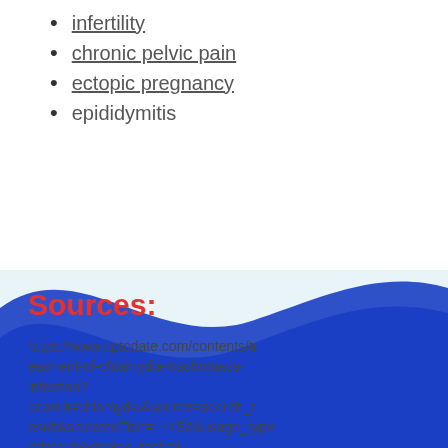infertility
chronic pelvic pain
ectopic pregnancy
epididymitis
Sources:
https://www.uptodate.com/contents/treatment-of-chlamydia-trachomatis-infection?search=chlamydia&source=search_result&selectedTitle=1~150&usage_type=default&display_rank=1
https://www.uptodate.com/contents/clinical-manifestations-and-diagnosis-of-chlamydia-trachomatis-infections?search=chlamydia&source=search_result&selectedTitle=2-150&usage_type=default&display_rank=2